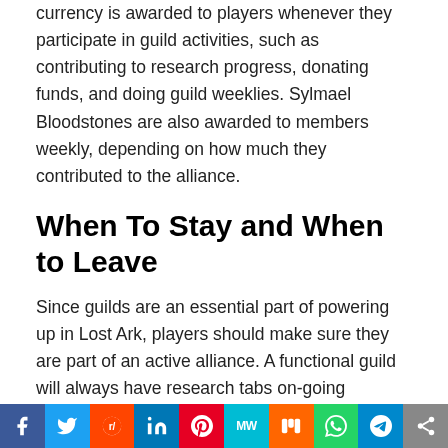currency is awarded to players whenever they participate in guild activities, such as contributing to research progress, donating funds, and doing guild weeklies. Sylmael Bloodstones are also awarded to members weekly, depending on how much they contributed to the alliance.
When To Stay and When to Leave
Since guilds are an essential part of powering up in Lost Ark, players should make sure they are part of an active alliance. A functional guild will always have research tabs on-going whenever possible and have guild weeklies commissioned. When a group no longer finishes any weekly missions or takes too long to research an upgrade, then players should consider leaving.
Cutting ties with a guild is perfectly acceptable since
[Figure (other): Social sharing bar with icons: Facebook, Twitter, Reddit, LinkedIn, Pinterest, MeWe, Mix, WhatsApp, Telegram, Share]